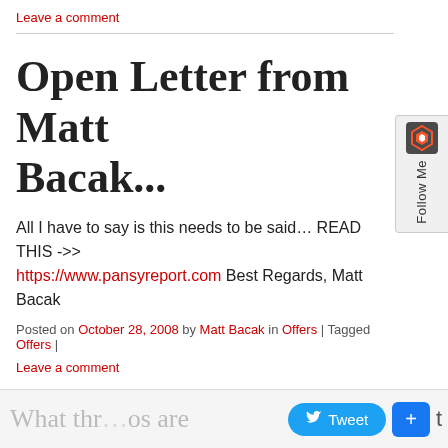Leave a comment
Open Letter from Matt Bacak...
All I have to say is this needs to be said… READ THIS ->> https://www.pansyreport.com Best Regards, Matt Bacak
Posted on October 28, 2008 by Matt Bacak in Offers | Tagged Offers |
Leave a comment
What thr...os are